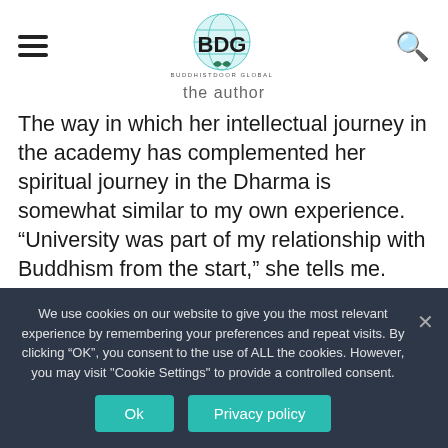[Figure (logo): BDG Buddhistdoor Global logo with globe and leaf icon]
the author
The way in which her intellectual journey in the academy has complemented her spiritual journey in the Dharma is somewhat similar to my own experience. “University was part of my relationship with Buddhism from the start,” she tells me. “During my PhD, I started to teach in Sofia University with the kind help of Professor Fedotoff, who had become my tutor. He asked me to teach on some of the courses that he was
We use cookies on our website to give you the most relevant experience by remembering your preferences and repeat visits. By clicking “OK”, you consent to the use of ALL the cookies. However, you may visit "Cookie Settings" to provide a controlled consent.